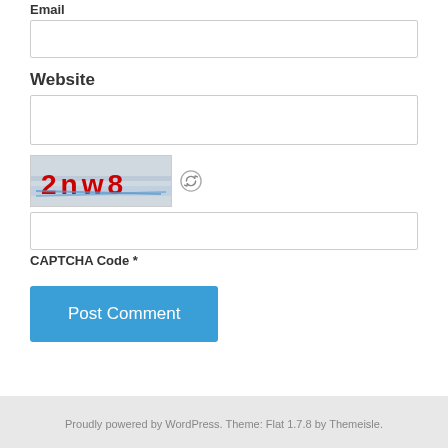Email
[Figure (other): Empty text input box for Email field]
Website
[Figure (other): Empty text input box for Website field]
[Figure (other): CAPTCHA image showing distorted text '2nw8' in red on a light background, with a refresh/reload icon next to it]
[Figure (other): Empty text input box for CAPTCHA code]
CAPTCHA Code *
[Figure (other): Post Comment button in blue]
Proudly powered by WordPress. Theme: Flat 1.7.8 by Themeisle.